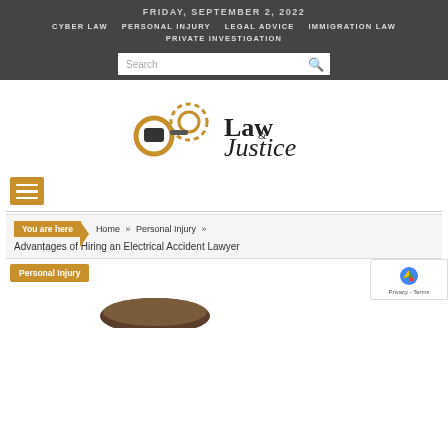FRIDAY, SEPTEMBER 2, 2022
CYBER LAW   PERSONAL INJURY   LEGAL ADVICE   IMMIGRATION LAW   PRIVATE INVESTIGATION
[Figure (logo): Law & Justice logo with handcuffs icon and text 'Law & Justice']
You are here  Home » Personal Injury »
Advantages of Hiring an Electrical Accident Lawyer
Personal Injury
[Figure (photo): Bottom of a gavel, partially visible at the bottom of the page]